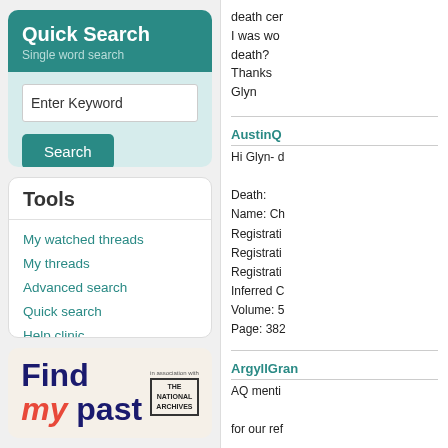Quick Search
Single word search
Enter Keyword
Search
Tools
My watched threads
My threads
Advanced search
Quick search
Help clinic
[Figure (logo): FindMyPast logo in association with The National Archives]
death cer
I was wo
death?
Thanks
Glyn
AustinQ
Hi Glyn- d

Death:
Name: Ch
Registrati
Registrati
Registrati
Inferred C
Volume: 5
Page: 382
ArgyllGran
AQ menti

for our ref